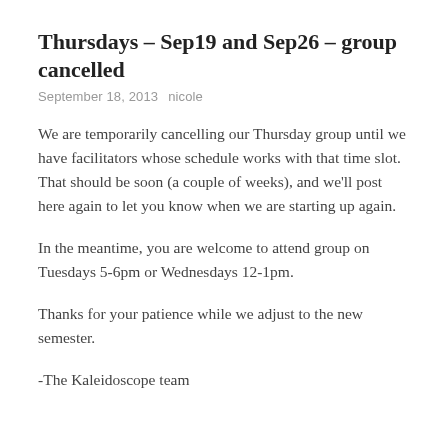Thursdays – Sep19 and Sep26 – group cancelled
September 18, 2013   nicole
We are temporarily cancelling our Thursday group until we have facilitators whose schedule works with that time slot. That should be soon (a couple of weeks), and we'll post here again to let you know when we are starting up again.
In the meantime, you are welcome to attend group on Tuesdays 5-6pm or Wednesdays 12-1pm.
Thanks for your patience while we adjust to the new semester.
-The Kaleidoscope team